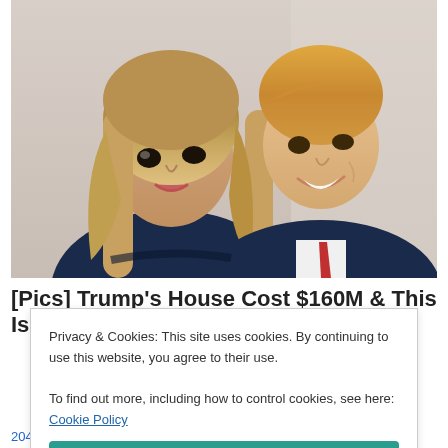[Figure (photo): A couple smiling for a photo — a woman with long blonde hair in a dark jacket and a man in a suit with a red tie, photographed indoors]
[Pics] Trump's House Cost $160M & This Is
Privacy & Cookies: This site uses cookies. By continuing to use this website, you agree to their use.
To find out more, including how to control cookies, see here: Cookie Policy
Close and accept
204 bloggers like this.